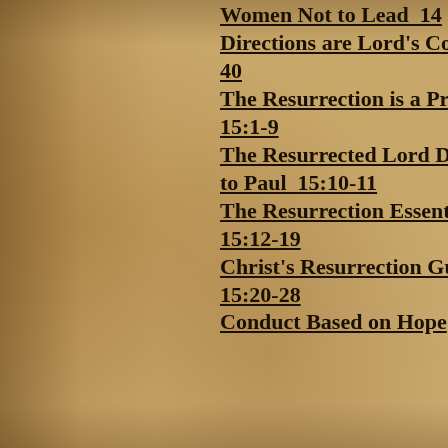Women Not to Lead  14
Directions are Lord's Co
40
The Resurrection is a Pr
15:1-9
The Resurrected Lord D
to Paul  15:10-11
The Resurrection Essent
15:12-19
Christ's Resurrection Gu
15:20-28
Conduct Based on Hope